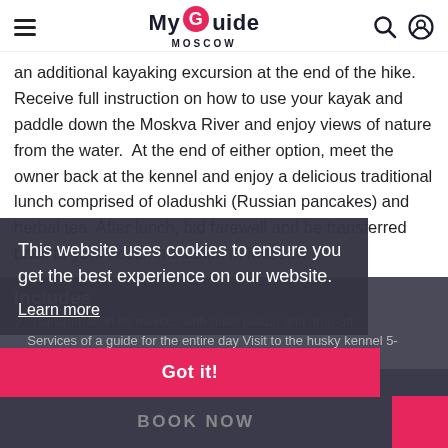My Guide MOSCOW
an additional kayaking excursion at the end of the hike. Receive full instruction on how to use your kayak and paddle down the Moskva River and enjoy views of nature from the water.  At the end of either option, meet the owner back at the kennel and enjoy a delicious traditional lunch comprised of oladushki (Russian pancakes) and herbal tea. After lunch, bid farewell and be transferred back to your accommodation in Moscow.
Includes
Transportation by minibus with hotel pickup and drop-off
Services of a guide for the entire day Visit to the husky kennel 5-kilometer dog trekking tour or 5-kilometer dog-trekking and 6-
This website uses cookies to ensure you get the best experience on our website.
Learn more
Got it!
Reserve Your Experience
From Moscow: Dog Trekking with Optional Kayaking
BOOK NOW